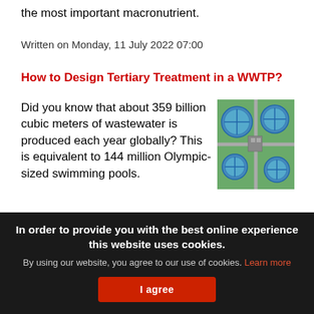the most important macronutrient.
Written on Monday, 11 July 2022 07:00
How to Design Tertiary Treatment in a WWTP?
Did you know that about 359 billion cubic meters of wastewater is produced each year globally? This is equivalent to 144 million Olympic-sized swimming pools.
[Figure (photo): Aerial view of a wastewater treatment plant showing multiple circular blue settling tanks surrounded by green vegetation and roads.]
In order to provide you with the best online experience this website uses cookies.
By using our website, you agree to our use of cookies. Learn more
I agree